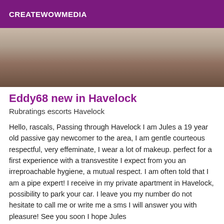CREATEWOWMEDIA
[Figure (photo): Close-up photograph with warm brown and beige tones, partially cropped]
Eddy68 new in Havelock
Rubratings escorts Havelock
Hello, rascals, Passing through Havelock I am Jules a 19 year old passive gay newcomer to the area, I am gentle courteous respectful, very effeminate, I wear a lot of makeup. perfect for a first experience with a transvestite I expect from you an irreproachable hygiene, a mutual respect. I am often told that I am a pipe expert! I receive in my private apartment in Havelock, possibility to park your car. I leave you my number do not hesitate to call me or write me a sms I will answer you with pleasure! See you soon I hope Jules